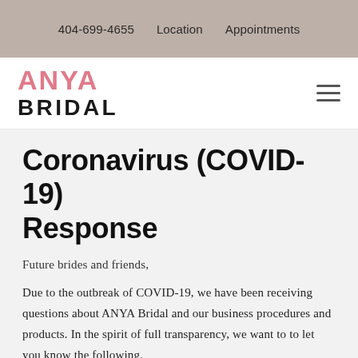404-699-4655   Location   Appointments
[Figure (logo): ANYA BRIDAL logo — ANYA in pink bold, BRIDAL in black bold below]
Coronavirus (COVID-19) Response
Future brides and friends,
Due to the outbreak of COVID-19, we have been receiving questions about ANYA Bridal and our business procedures and products. In the spirit of full transparency, we want to to let you know the following.